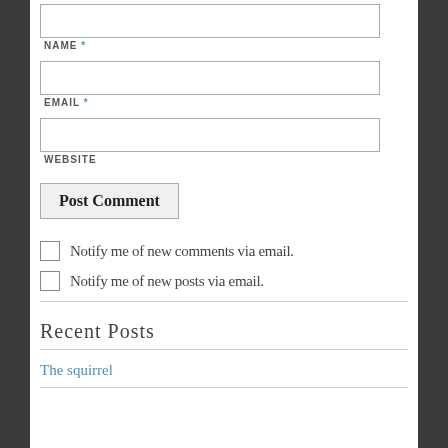NAME *
EMAIL *
WEBSITE
Post Comment
Notify me of new comments via email.
Notify me of new posts via email.
Recent Posts
The squirrel